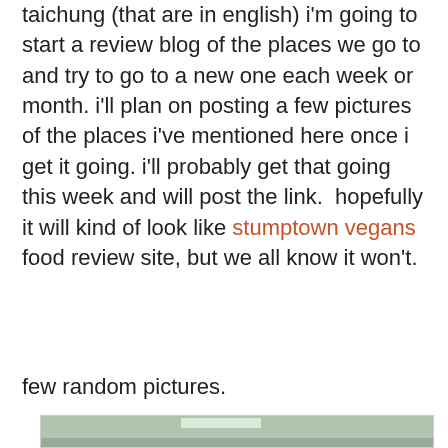taichung (that are in english) i'm going to start a review blog of the places we go to and try to go to a new one each week or month. i'll plan on posting a few pictures of the places i've mentioned here once i get it going. i'll probably get that going this week and will post the link.  hopefully it will kind of look like stumptown vegans food review site, but we all know it won't.
few random pictures.
[Figure (photo): Interior of what appears to be a shop or cafe in Taichung, with colorful murals/posters on the walls, shelving on the left with books/items, a long wooden table in the foreground, colorful fabric panels on the right wall, and Chinese characters visible in the bottom right corner.]